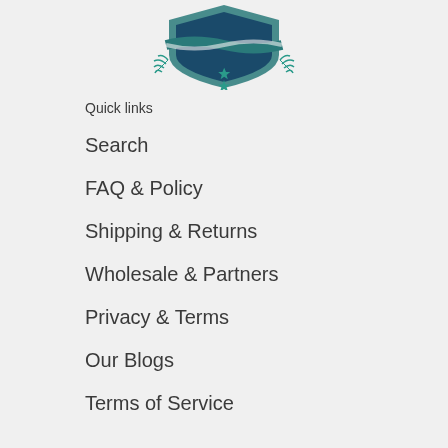[Figure (logo): Teal and dark navy shield/badge logo with laurel wreath and star, partially visible at top of page]
Quick links
Search
FAQ & Policy
Shipping & Returns
Wholesale & Partners
Privacy & Terms
Our Blogs
Terms of Service